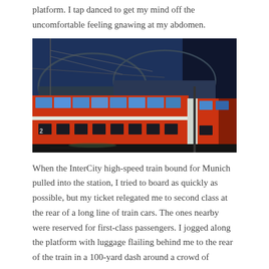platform. I tap danced to get my mind off the uncomfortable feeling gnawing at my abdomen.
[Figure (photo): A red double-decker InterCity train at a European railway station at dusk/night. The train has blue-lit upper windows and is stopped at a platform under a large arched glass-and-steel canopy. The sky is deep blue.]
When the InterCity high-speed train bound for Munich pulled into the station, I tried to board as quickly as possible, but my ticket relegated me to second class at the rear of a long line of train cars. The ones nearby were reserved for first-class passengers. I jogged along the platform with luggage flailing behind me to the rear of the train in a 100-yard dash around a crowd of bystanders